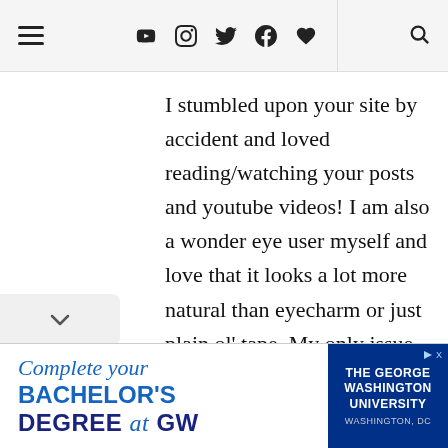Navigation bar with hamburger menu, social icons (YouTube, Instagram, Twitter, Facebook, heart, search)
I stumbled upon your site by accident and loved reading/watching your posts and youtube videos! I am also a wonder eye user myself and love that it looks a lot more natural than eyecharm or just plain ol' tape. My only issue is that when i put on makeup with the tape on, the tape gets quite loose in a few hours. Does that happen to you as
[Figure (other): Scroll down chevron indicator on left side]
Complete your BACHELOR'S DEGREE at GW — The George Washington University, Washington, DC advertisement banner